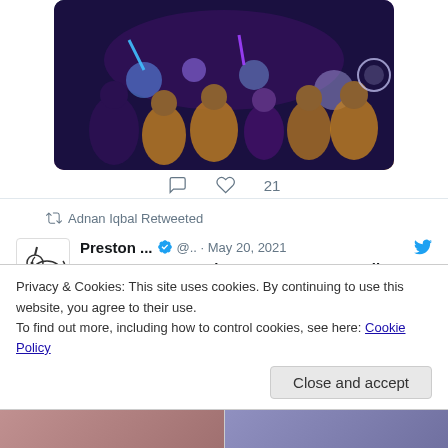[Figure (photo): Group of people in costumes holding light-up props at a nighttime event, wearing golden ponchos]
21
Adnan Iqbal Retweeted
[Figure (logo): Preston city council unicorn logo]
Preston ... ✓ @.. · May 20, 2021
NEWS: Preston welcomes new Mayor - Cllr Javed Iqbal
The city of Preston has formally welcomed Councillor Javed Iqbal as its 693rd Mayor and the first Muslim to hold
Privacy & Cookies: This site uses cookies. By continuing to use this website, you agree to their use.
To find out more, including how to control cookies, see here: Cookie Policy
Close and accept
[Figure (photo): Bottom strip showing partial photos]